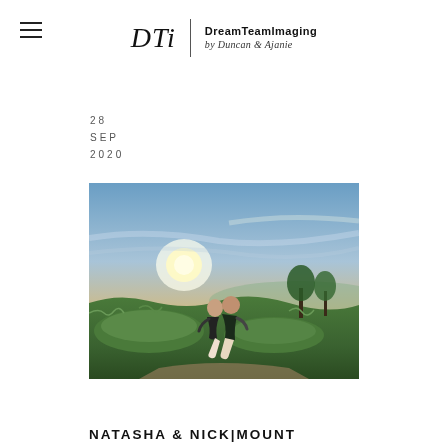DTi | DreamTeamImaging by Duncan & Ajanie
28 SEP 2020
[Figure (photo): Couple sitting on mossy rocks at sunset with dramatic golden sky in the background, surrounded by green hills and trees]
NATASHA & NICK|MOUNT